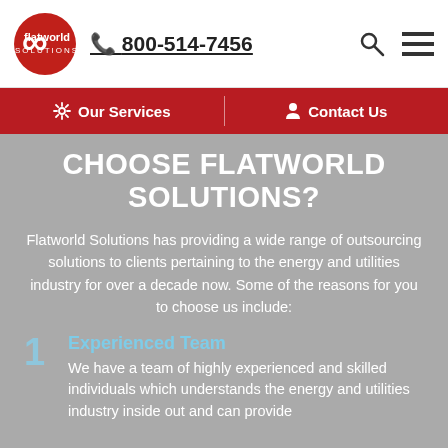flatworld solutions  800-514-7456
Our Services  Contact Us
CHOOSE FLATWORLD SOLUTIONS?
Flatworld Solutions has providing a wide range of outsourcing solutions to clients pertaining to the energy and utilities industry for over a decade now. Some of the reasons for you to choose us include:
1  Experienced Team
We have a team of highly experienced and skilled individuals which understands the energy and utilities industry inside out and can provide